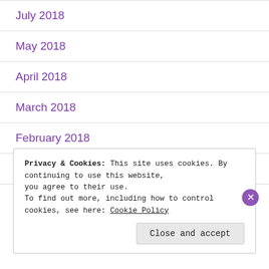July 2018
May 2018
April 2018
March 2018
February 2018
January 2018
Privacy & Cookies: This site uses cookies. By continuing to use this website, you agree to their use.
To find out more, including how to control cookies, see here: Cookie Policy
Close and accept